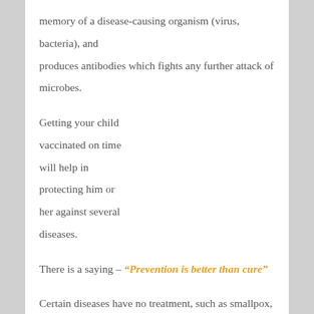memory of a disease-causing organism (virus, bacteria), and produces antibodies which fights any further attack of microbes.
Getting your child vaccinated on time will help in protecting him or her against several diseases.
There is a saying – “Prevention is better than cure”
Certain diseases have no treatment, such as smallpox, polio, hence vaccination is a boon for us.